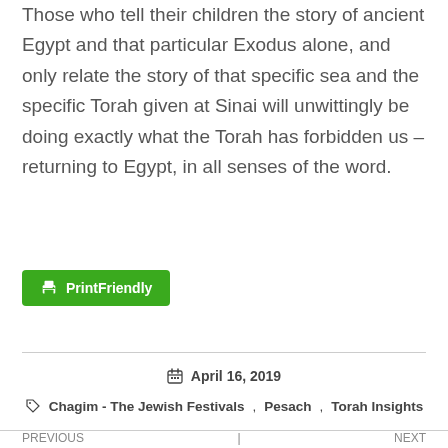Those who tell their children the story of ancient Egypt and that particular Exodus alone, and only relate the story of that specific sea and the specific Torah given at Sinai will unwittingly be doing exactly what the Torah has forbidden us – returning to Egypt, in all senses of the word.
[Figure (other): Green PrintFriendly button with printer icon]
April 16, 2019
Chagim - The Jewish Festivals, Pesach, Torah Insights